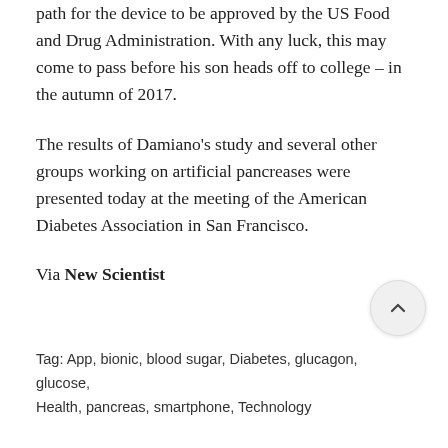path for the device to be approved by the US Food and Drug Administration. With any luck, this may come to pass before his son heads off to college – in the autumn of 2017.
The results of Damiano's study and several other groups working on artificial pancreases were presented today at the meeting of the American Diabetes Association in San Francisco.
Via New Scientist
Tag: App, bionic, blood sugar, Diabetes, glucagon, glucose, Health, pancreas, smartphone, Technology